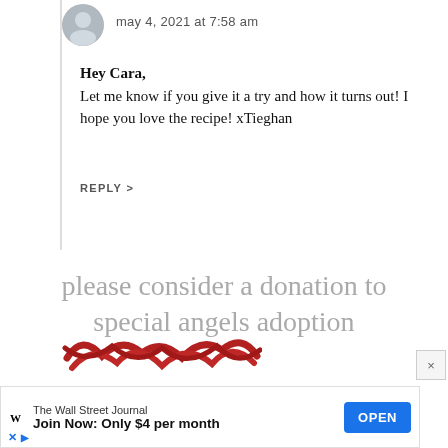may 4, 2021 at 7:58 am
Hey Cara,
Let me know if you give it a try and how it turns out! I hope you love the recipe! xTieghan
REPLY >
please consider a donation to special angels adoption
[Figure (other): Red scribbled/redacted image at bottom of page]
[Figure (other): Advertisement banner: The Wall Street Journal - Join Now: Only $4 per month - OPEN button]